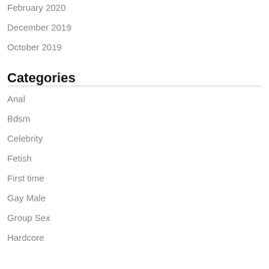February 2020
December 2019
October 2019
Categories
Anal
Bdsm
Celebrity
Fetish
First time
Gay Male
Group Sex
Hardcore